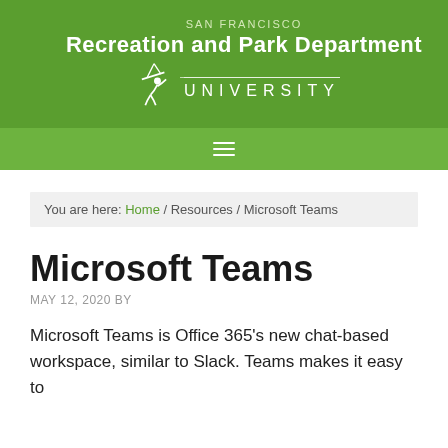[Figure (logo): San Francisco Recreation and Park Department University logo — green banner with white text and swinging figure icon]
≡ (navigation menu icon)
You are here: Home / Resources / Microsoft Teams
Microsoft Teams
MAY 12, 2020 BY
Microsoft Teams is Office 365's new chat-based workspace, similar to Slack. Teams makes it easy to